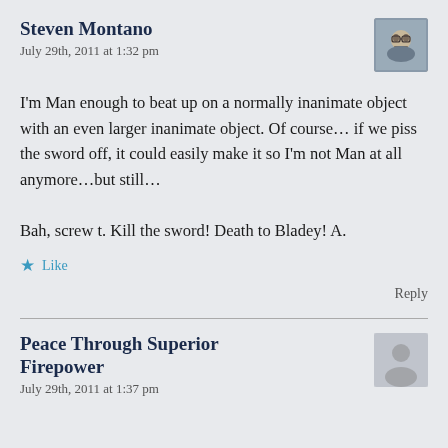Steven Montano
July 29th, 2011 at 1:32 pm
I'm Man enough to beat up on a normally inanimate object with an even larger inanimate object. Of course… if we piss the sword off, it could easily make it so I'm not Man at all anymore…but still…
Bah, screw t. Kill the sword! Death to Bladey! A.
Like
Reply
Peace Through Superior Firepower
July 29th, 2011 at 1:37 pm